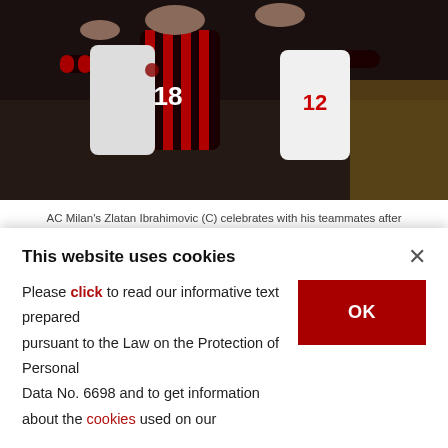[Figure (photo): AC Milan players in red and black striped jerseys, including players wearing numbers 18 and 12, celebrating together on the pitch.]
AC Milan's Zlatan Ibrahimovic (C) celebrates with his teammates after scoring his side's second goal during the Serie A match against Inter Milan, in Milan, Italy, Feb. 9, 2020. (AP Photo)
BY COMPILED FROM WIRE SERVICES
APR 21, 2020 11:38 AM
Serie A insisted Monday that it was committed
This website uses cookies
Please click to read our informative text prepared pursuant to the Law on the Protection of Personal Data No. 6698 and to get information about the cookies used on our